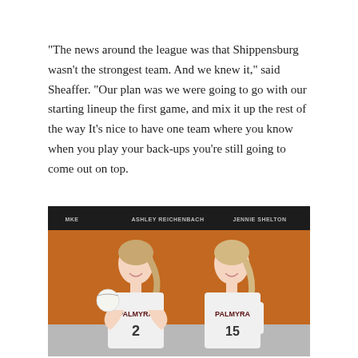“The news around the league was that Shippensburg wasn’t the strongest team. And we knew it,” said Sheaffer. “Our plan was we were going to go with our starting lineup the first game, and mix it up the rest of the way It’s nice to have one team where you know when you play your back-ups you’re still going to come out on top.
[Figure (photo): Two female volleyball players in white Palmyra jerseys smiling, standing in front of an orange gymnasium wall with a black banner showing names 'ASHLEY REICHENBACH' and 'JENNIE SHELTON'.]